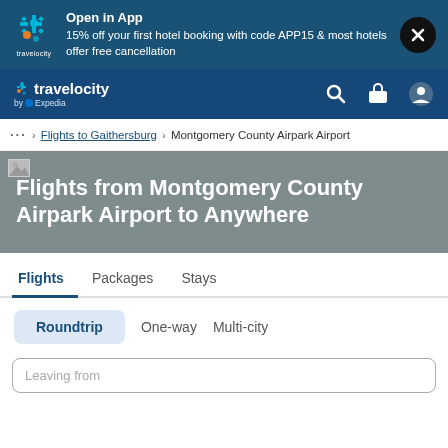[Figure (screenshot): Travelocity app promotional banner with logo, offer text, and close button]
Open in App
15% off your first hotel booking with code APP15 & most hotels offer free cancellation
[Figure (screenshot): Travelocity navigation bar with logo, search, trips, and account icons]
... > Flights to Gaithersburg > Montgomery County Airpark Airport
Flights from Montgomery County Airpark Airport to Anywhere
Flights   Packages   Stays
Roundtrip   One-way   Multi-city
Leaving from